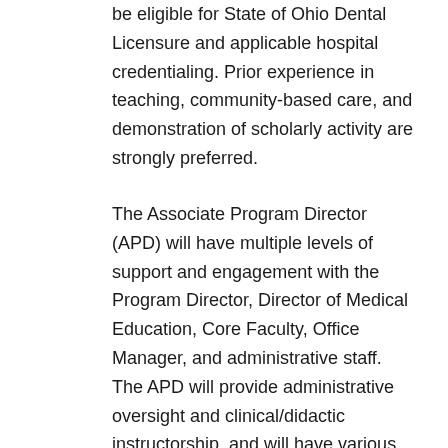be eligible for State of Ohio Dental Licensure and applicable hospital credentialing. Prior experience in teaching, community-based care, and demonstration of scholarly activity are strongly preferred.
The Associate Program Director (APD) will have multiple levels of support and engagement with the Program Director, Director of Medical Education, Core Faculty, Office Manager, and administrative staff.  The APD will provide administrative oversight and clinical/didactic instructorship, and will have various committee responsibilities.  Coordinating the disciplines of dentistry for efficient and effective clinical operations is important, utilizing prospective and retrospective auditing of both hospital and clinic...